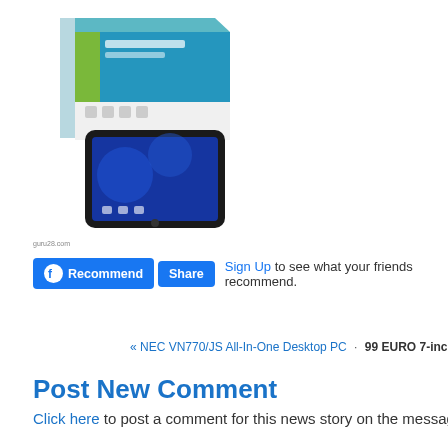[Figure (photo): Product photo showing a tablet device (POV ProTAB 25) with its retail box. The box has a teal/blue and green color scheme. The tablet has a dark bezel with a blue wallpaper screen.]
guru28.com
Recommend  Share  Sign Up to see what your friends recommend.
« NEC VN770/JS All-In-One Desktop PC · 99 EURO 7-inch POV ProTAB 25 ge
Post New Comment
Click here to post a comment for this news story on the message fo